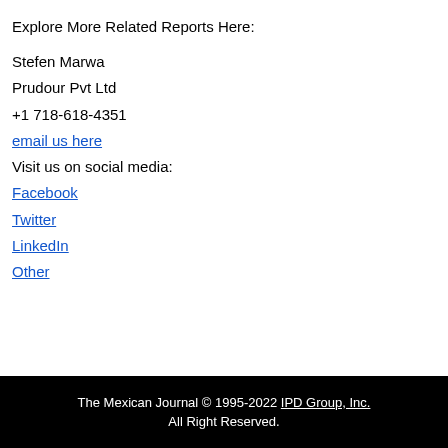Explore More Related Reports Here:
Stefen Marwa
Prudour Pvt Ltd
+1 718-618-4351
email us here
Visit us on social media:
Facebook
Twitter
LinkedIn
Other
The Mexican Journal © 1995-2022 IPD Group, Inc. All Right Reserved.